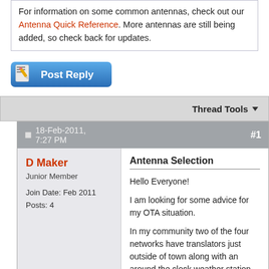For information on some common antennas, check out our Antenna Quick Reference. More antennas are still being added, so check back for updates.
[Figure (other): Post Reply button with pencil icon, blue gradient rounded rectangle]
Thread Tools
18-Feb-2011, 7:27 PM  #1
D Maker
Junior Member
Join Date: Feb 2011
Posts: 4
Antenna Selection
Hello Everyone!

I am looking for some advice for my OTA situation.

In my community two of the four networks have translators just outside of town along with an around the clock weather station and an WB station. The other two major networks, FOX (KHMT) and ABC (KSVI) have a 1000KW towers approximately 45 to 50 miles away. I have spoken to the stations directly and was told I would be looking at putting a